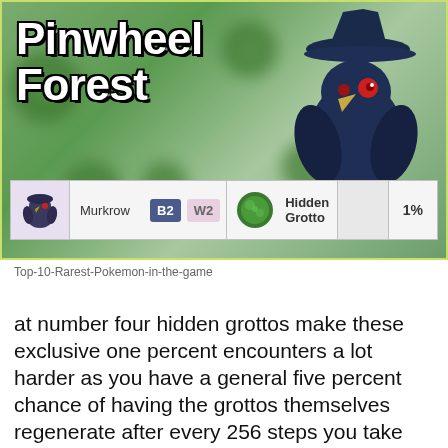[Figure (screenshot): Screenshot from a Pokemon game guide showing 'Pinwheel Forest' title with a Murkrow entry, B2 W2 version tags, Hidden Grotto location, and 1% encounter rate.]
Top-10-Rarest-Pokemon-in-the-game
at number four hidden grottos make these exclusive one percent encounters a lot harder as you have a general five percent chance of having the grottos themselves regenerate after every 256 steps you take you can increase the five percent chance of encountering a pokemon with the hidden grotto pass power this method of finding a wild pokemon requires a significant